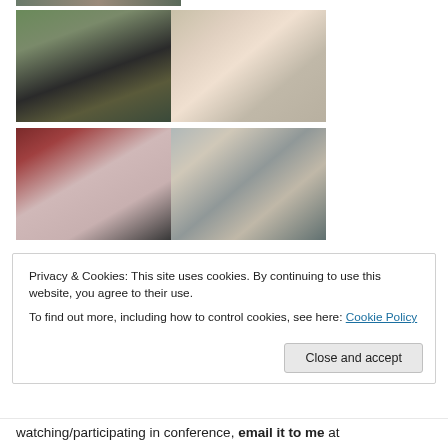[Figure (photo): Partial top photo strip visible at top of page, cropped]
[Figure (photo): Two photos side by side: left shows a boy sitting on a dark couch with papers/books on a black table; right shows a girl in pink shirt sitting on the floor with a yellow and white binder/folder]
[Figure (photo): Two photos side by side: left shows two children lying on a black beanbag/couch with red floral blanket; right shows children in a room with framed pictures on the wall, working on the floor with papers]
Privacy & Cookies: This site uses cookies. By continuing to use this website, you agree to their use.
To find out more, including how to control cookies, see here: Cookie Policy
Close and accept
watching/participating in conference, email it to me at